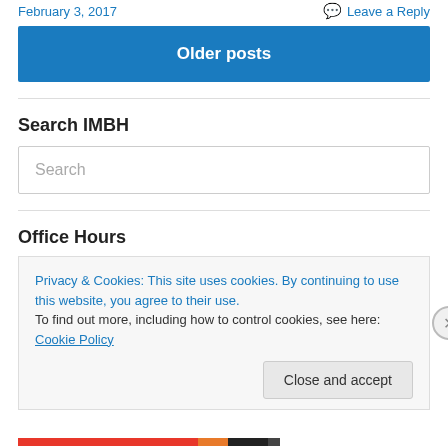February 3, 2017   Leave a Reply
Older posts
Search IMBH
Search
Office Hours
Privacy & Cookies: This site uses cookies. By continuing to use this website, you agree to their use. To find out more, including how to control cookies, see here: Cookie Policy
Close and accept